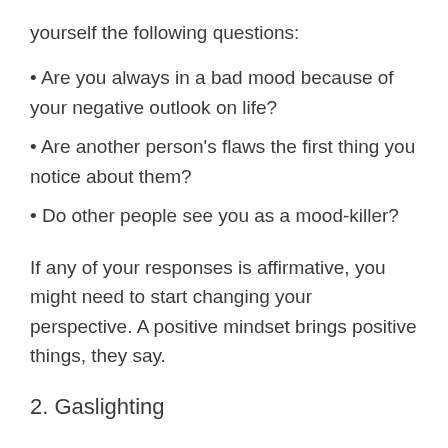yourself the following questions:
• Are you always in a bad mood because of your negative outlook on life?
• Are another person's flaws the first thing you notice about them?
• Do other people see you as a mood-killer?
If any of your responses is affirmative, you might need to start changing your perspective. A positive mindset brings positive things, they say.
2. Gaslighting